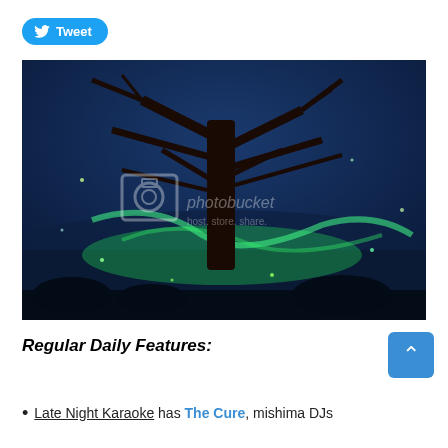[Figure (screenshot): Twitter Tweet button with blue rounded pill shape and bird logo]
[Figure (photo): Night scene with a large bare tree silhouetted against a deep blue sky, with bright green firefly or light trails in the foreground and background. Photobucket watermark visible in the center.]
Regular Daily Features:
Late Night Karaoke has The Cure, mishima DJs